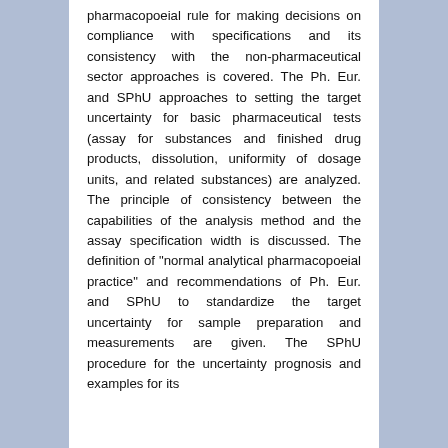pharmacopoeial rule for making decisions on compliance with specifications and its consistency with the non-pharmaceutical sector approaches is covered. The Ph. Eur. and SPhU approaches to setting the target uncertainty for basic pharmaceutical tests (assay for substances and finished drug products, dissolution, uniformity of dosage units, and related substances) are analyzed. The principle of consistency between the capabilities of the analysis method and the assay specification width is discussed. The definition of "normal analytical pharmacopoeial practice" and recommendations of Ph. Eur. and SPhU to standardize the target uncertainty for sample preparation and measurements are given. The SPhU procedure for the uncertainty prognosis and examples for its